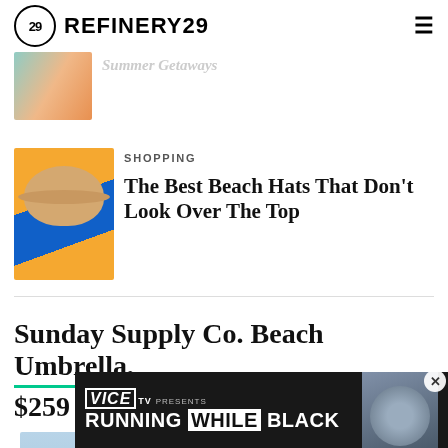REFINERY29
[Figure (photo): Partially visible article thumbnail with summer getaways theme]
Summer Getaways
SHOPPING
[Figure (photo): Shopping article thumbnail showing a beige bucket hat on colorful orange and blue background]
The Best Beach Hats That Don't Look Over The Top
Sunday Supply Co. Beach Umbrella, $259
[Figure (photo): Product photo of beach umbrella against blue sky background]
[Figure (photo): VICE TV advertisement - Running While Black showing person with goggles]